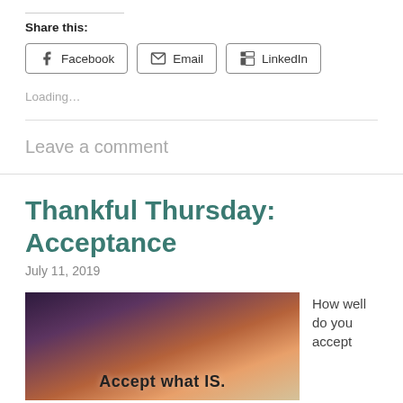Share this:
Facebook   Email   LinkedIn
Loading…
Leave a comment
Thankful Thursday: Acceptance
July 11, 2019
[Figure (photo): Dramatic sky photo with text overlay reading 'Accept what IS.']
How well do you accept